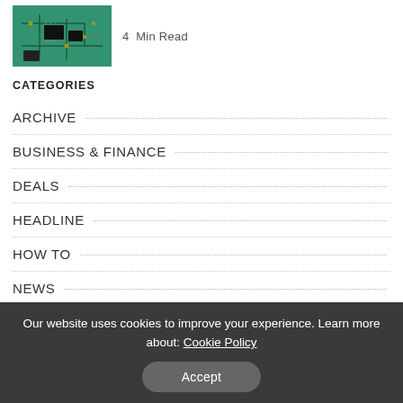[Figure (photo): Close-up photo of a green circuit board with electronic components]
4  Min Read
CATEGORIES
ARCHIVE
BUSINESS & FINANCE
DEALS
HEADLINE
HOW TO
NEWS
REVIEWS
Our website uses cookies to improve your experience. Learn more about: Cookie Policy
Accept